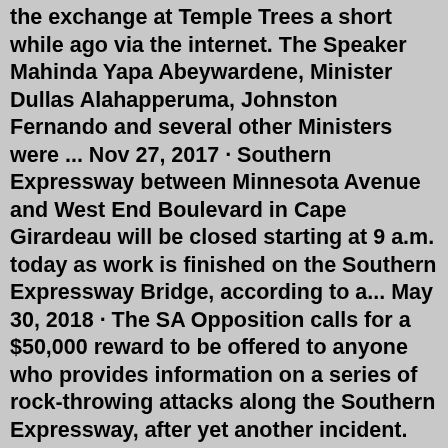the exchange at Temple Trees a short while ago via the internet. The Speaker Mahinda Yapa Abeywardene, Minister Dullas Alahapperuma, Johnston Fernando and several other Ministers were ... Nov 27, 2017 · Southern Expressway between Minnesota Avenue and West End Boulevard in Cape Girardeau will be closed starting at 9 a.m. today as work is finished on the Southern Expressway Bridge, according to a... May 30, 2018 · The SA Opposition calls for a $50,000 reward to be offered to anyone who provides information on a series of rock-throwing attacks along the Southern Expressway, after yet another incident. Nov 27, 2011 · Posted in Local News All arrangements have been finalised for the grand opening of the Southern Expressway – the 'Gateway to Wonder' by President Mahinda Rajapaksa today, heralding a fast-track development drive in Sri Lanka. The Rs.77 billion mega project is the first expressway in Sri Lanka. The 19-mile-long Southern Beltway, also known as I-576, goes from Interstate 79 at the Allegheny and Washington counties line to